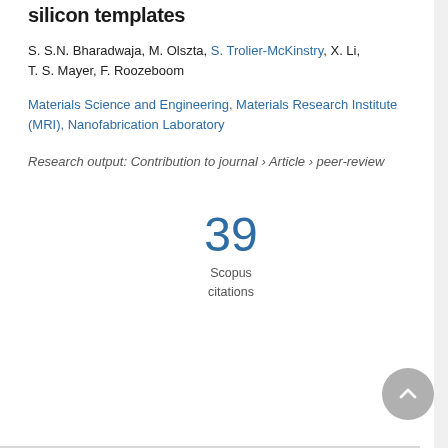silicon templates
S. S.N. Bharadwaja, M. Olszta, S. Trolier-McKinstry, X. Li, T. S. Mayer, F. Roozeboom
Materials Science and Engineering, Materials Research Institute (MRI), Nanofabrication Laboratory
Research output: Contribution to journal › Article › peer-review
39 Scopus citations